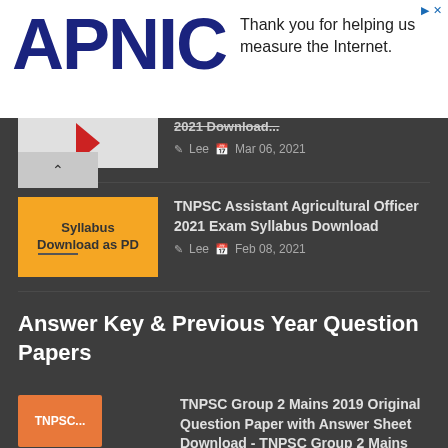[Figure (logo): APNIC logo advertisement banner with text 'Thank you for helping us measure the Internet.']
2021 Download...
Lee  Mar 06, 2021
[Figure (illustration): Yellow thumbnail with text 'Syllabus Download as PDF']
TNPSC Assistant Agricultural Officer 2021 Exam Syllabus Download
Lee  Feb 08, 2021
Answer Key & Previous Year Question Papers
[Figure (illustration): Three colored tags: TNPSC (orange), Group (green), Mains (blue)]
TNPSC Group 2 Mains 2019 Original Question Paper with Answer Sheet Download - TNPSC Group 2 Mains Model Question Paper Download
Lee  Jan 30, 2022